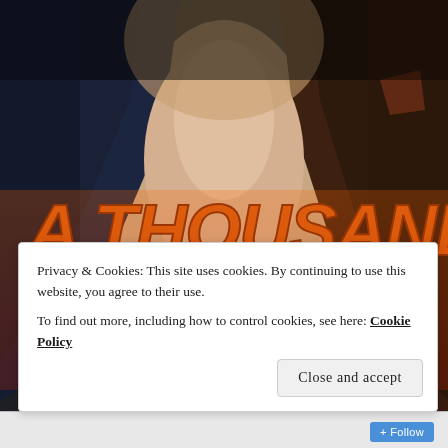[Figure (illustration): Book cover image for 'A Thousand Lifetimes' showing a shirtless male figure in a dark suit jacket with large bold orange/gold text reading 'A THOUSAND LIFETIMES' overlaid on the image]
Privacy & Cookies: This site uses cookies. By continuing to use this website, you agree to their use.
To find out more, including how to control cookies, see here: Cookie Policy
Close and accept